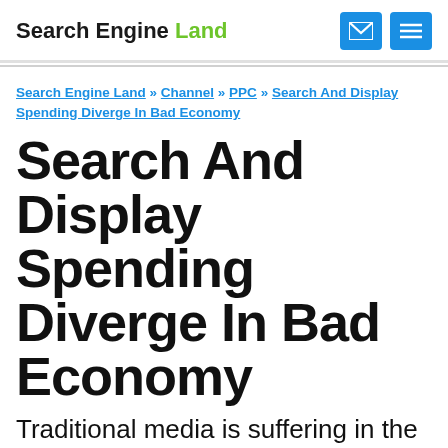Search Engine Land
Search Engine Land » Channel » PPC » Search And Display Spending Diverge In Bad Economy
Search And Display Spending Diverge In Bad Economy
Traditional media is suffering in the current downturn/recession. For example, US print newspaper revenues were down